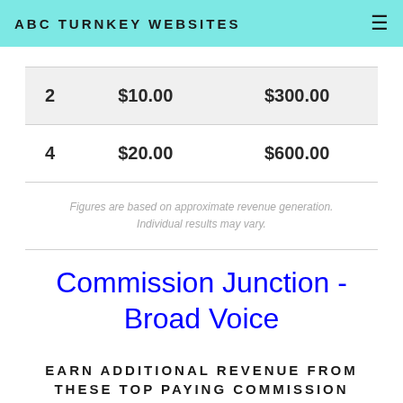ABC Turnkey Websites
| 2 | $10.00 | $300.00 |
| 4 | $20.00 | $600.00 |
Figures are based on approximate revenue generation. Individual results may vary.
Commission Junction - Broad Voice
EARN ADDITIONAL REVENUE FROM THESE TOP PAYING COMMISSION